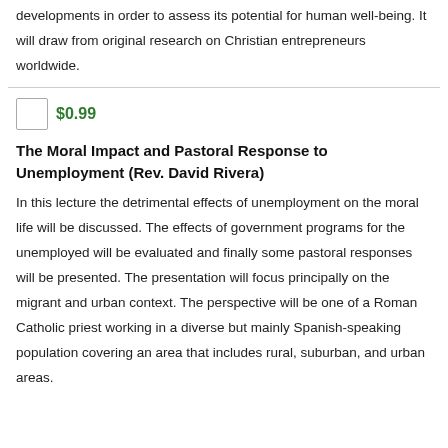developments in order to assess its potential for human well-being. It will draw from original research on Christian entrepreneurs worldwide.
$0.99
The Moral Impact and Pastoral Response to Unemployment (Rev. David Rivera)
In this lecture the detrimental effects of unemployment on the moral life will be discussed. The effects of government programs for the unemployed will be evaluated and finally some pastoral responses will be presented. The presentation will focus principally on the migrant and urban context. The perspective will be one of a Roman Catholic priest working in a diverse but mainly Spanish-speaking population covering an area that includes rural, suburban, and urban areas.